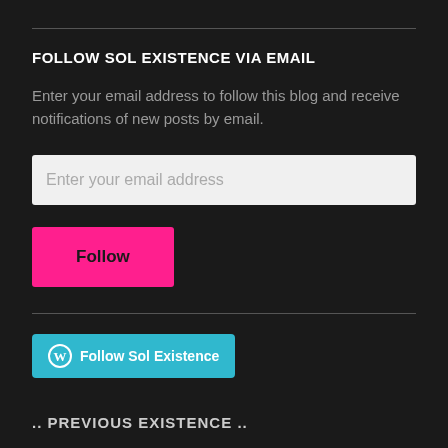FOLLOW SOL EXISTENCE VIA EMAIL
Enter your email address to follow this blog and receive notifications of new posts by email.
[Figure (screenshot): Email input field with placeholder text 'Enter your email address']
[Figure (screenshot): Hot pink Follow button]
[Figure (screenshot): WordPress Follow Sol Existence button in teal/cyan color]
.. PREVIOUS EXISTENCE ..